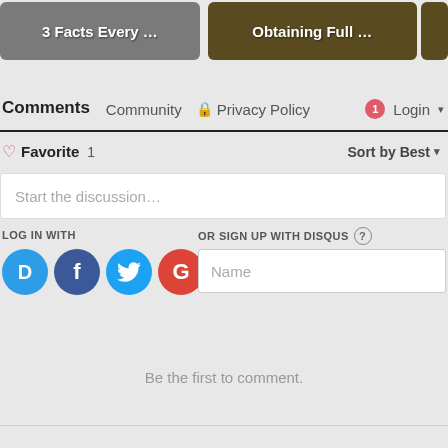[Figure (screenshot): Two article thumbnail images at top: '3 Facts Every ...' on grey background and 'Obtaining Full ...' on brown background]
Comments   Community   🔒 Privacy Policy          1   Login ▾
♡ Favorite  1                                        Sort by Best ▾
Start the discussion…
LOG IN WITH
OR SIGN UP WITH DISQUS ?
D  f  🐦  G
Name
Be the first to comment.